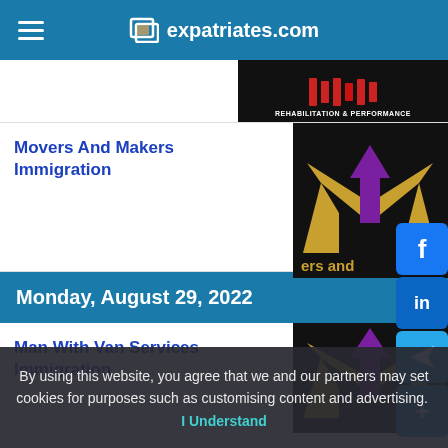expatriates.com
[Figure (screenshot): Rehabilitation & Performance banner image strip at top]
Movers And Makers Immigration
[Figure (logo): Movers and Makers logo - gold M shape with purple arrow on black background]
Monday, August 29, 2022
Man With Van Services Immigration
[Figure (logo): Man With Van Services logo - similar gold/purple logo on black background]
By using this website, you agree that we and our partners may set cookies for purposes such as customising content and advertising.  I Understand